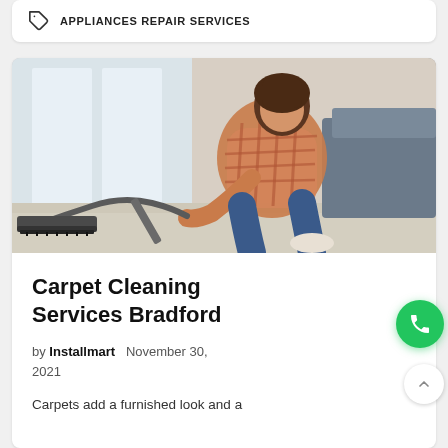APPLIANCES REPAIR SERVICES
[Figure (photo): A woman kneeling on a carpet using a vacuum cleaner near a window, wearing a plaid shirt and jeans]
Carpet Cleaning Services Bradford
by Installmart  November 30, 2021
Carpets add a furnished look and a